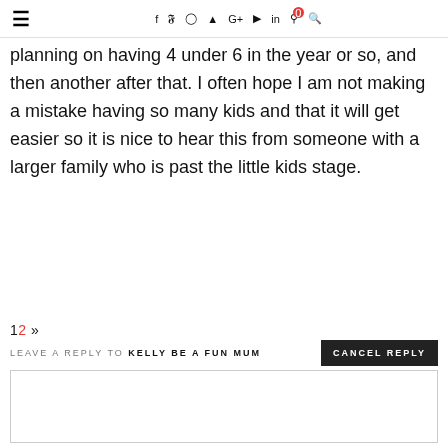≡  f  Twitter  Instagram  Pinterest  G+  YouTube  in  🛒0  🔍
planning on having 4 under 6 in the year or so, and then another after that. I often hope I am not making a mistake having so many kids and that it will get easier so it is nice to hear this from someone with a larger family who is past the little kids stage.
1 2 »
LEAVE A REPLY TO KELLY BE A FUN MUM   CANCEL REPLY